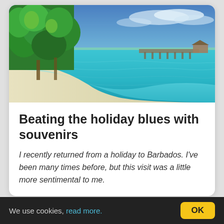[Figure (photo): Tropical beach scene with white sand, turquoise clear water, lush green palm trees on the left, and a pier/jetty extending into the ocean on the right, with blue sky and clouds in the background.]
Beating the holiday blues with souvenirs
I recently returned from a holiday to Barbados. I've been many times before, but this visit was a little more sentimental to me.
Read more
We use cookies, read more. OK